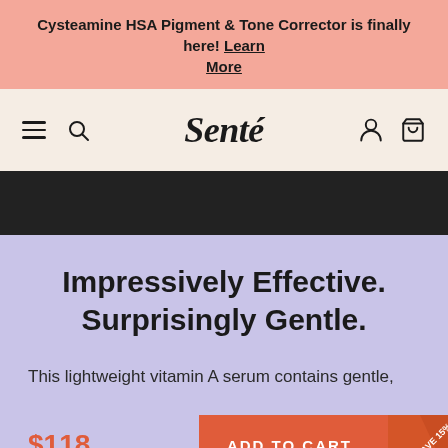Cysteamine HSA Pigment & Tone Corrector is finally here! Learn More
[Figure (screenshot): Senté brand navigation bar with hamburger menu, search icon, logo, user icon and cart icon on a light peach background]
Impressively Effective. Surprisingly Gentle.
This lightweight vitamin A serum contains gentle,
$118
ADD TO CART